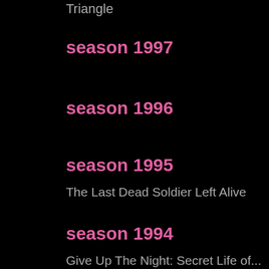Triangle
season 1997
season 1996
season 1995
The Last Dead Soldier Left Alive
season 1994
Give Up The Night: Secret Life of...